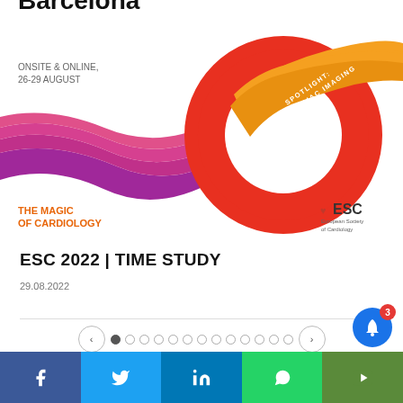[Figure (illustration): ESC Congress 2022 Barcelona event banner with colorful knotted ribbon graphic in red, orange, magenta/purple, text 'SPOTLIGHT: CARDIAC IMAGING' on orange ribbon, date 'ONSITE & ONLINE, 26-29 AUGUST', logo 'THE MAGIC OF CARDIOLOGY' in orange, ESC European Society of Cardiology logo]
ESC 2022 | TIME STUDY
29.08.2022
[Figure (other): Carousel navigation with left/right arrow buttons and 13 pagination dots, first dot active]